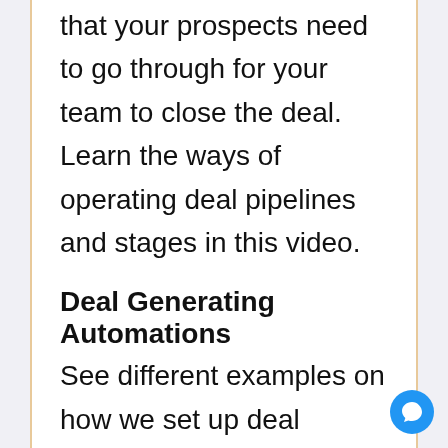that your prospects need to go through for your team to close the deal. Learn the ways of operating deal pipelines and stages in this video.
Deal Generating Automations
See different examples on how we set up deal creation automations in this video. In order to create a deal automatically, your team members first have to know how